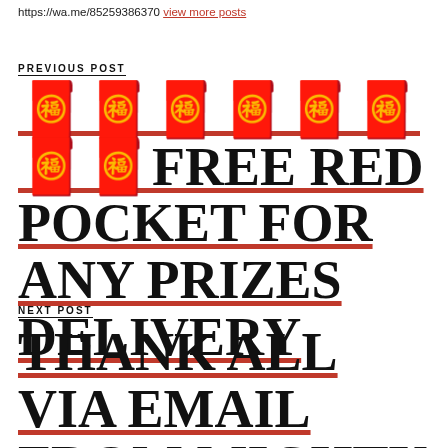https://wa.me/85259386370 View more posts
PREVIOUS POST
🧧🧧🧧🧧🧧🧧🧧🧧FREE RED POCKET FOR ANY PRIZES DELIVERY
NEXT POST
THANK ALL VIA EMAIL FROM MIGHTY CATCHER🏆